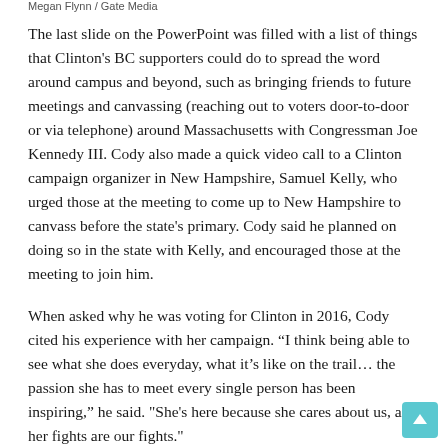Megan Flynn / Gate Media
The last slide on the PowerPoint was filled with a list of things that Clinton's BC supporters could do to spread the word around campus and beyond, such as bringing friends to future meetings and canvassing (reaching out to voters door-to-door or via telephone) around Massachusetts with Congressman Joe Kennedy III. Cody also made a quick video call to a Clinton campaign organizer in New Hampshire, Samuel Kelly, who urged those at the meeting to come up to New Hampshire to canvass before the state's primary. Cody said he planned on doing so in the state with Kelly, and encouraged those at the meeting to join him.
When asked why he was voting for Clinton in 2016, Cody cited his experience with her campaign. “I think being able to see what she does everyday, what it’s like on the trail… the passion she has to meet every single person has been inspiring,” he said. "She's here because she cares about us, and her fights are our fights."